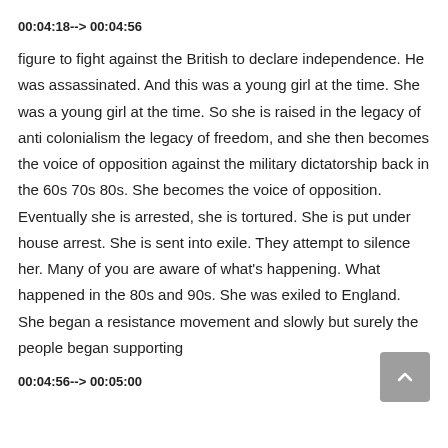00:04:18--> 00:04:56
figure to fight against the British to declare independence. He was assassinated. And this was a young girl at the time. She was a young girl at the time. So she is raised in the legacy of anti colonialism the legacy of freedom, and she then becomes the voice of opposition against the military dictatorship back in the 60s 70s 80s. She becomes the voice of opposition. Eventually she is arrested, she is tortured. She is put under house arrest. She is sent into exile. They attempt to silence her. Many of you are aware of what's happening. What happened in the 80s and 90s. She was exiled to England. She began a resistance movement and slowly but surely the people began supporting
00:04:56--> 00:05:00